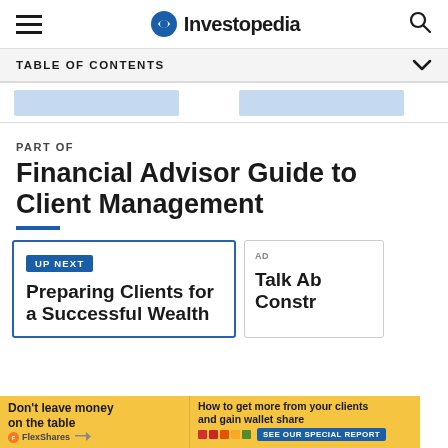Investopedia
TABLE OF CONTENTS
[Figure (other): Two light blue advertisement or navigation placeholder blocks in a horizontal strip]
PART OF
Financial Advisor Guide to Client Management
UP NEXT
Preparing Clients for a Successful Wealth
Talk Ab Constr
[Figure (infographic): Bottom advertisement banner with yellow background. Left side: Don't leave money on the table, FlexShares logo. Right side: How to get more from your clients and gain wallet share, SEE OUR SPECIAL REPORT button in blue.]